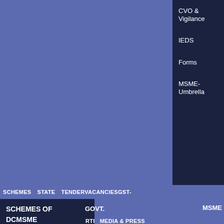CVO & Vigilance
IEDS
Forms
MSME-Umbrella
SCHEMES   STATE   TENDERVACANCIESGST-
SCHEMES OF DCMSME
GOVT.
MSME
RTI   MEDIA & PRESS
Success Stories
Awareness on Corona Virus
Newsletter
News & Events